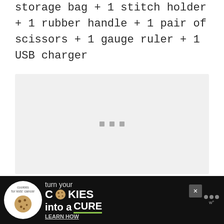storage bag + 1 stitch holder + 1 rubber handle + 1 pair of scissors + 1 gauge ruler + 1 USB charger
[Figure (other): Loading placeholder area with three small gray squares indicating an image loading state]
[Figure (other): Advertisement banner: Cookies for Kids Cancer - turn your cookies into a cure, learn how. Dark background with green cookie logo and bold white text.]